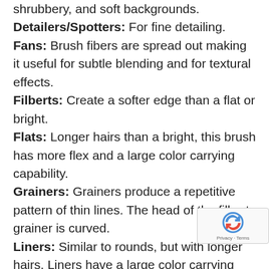shrubbery, and soft backgrounds.
Detailers/Spotters: For fine detailing.
Fans: Brush fibers are spread out making it useful for subtle blending and for textural effects.
Filberts: Create a softer edge than a flat or bright.
Flats: Longer hairs than a bright, this brush has more flex and a large color carrying capability.
Grainers: Grainers produce a repetitive pattern of thin lines. The head of the filbert grainer is curved.
Liners: Similar to rounds, but with longer hairs. Liners have a large color carrying capacity and makes long, fluid strokes.
Oval Washes: A cross between a mop and a filbert, used primarily for laying in large amounts of color and blending.
Mops: Mops have a large rounded shape that large areas of color with a soft edge.